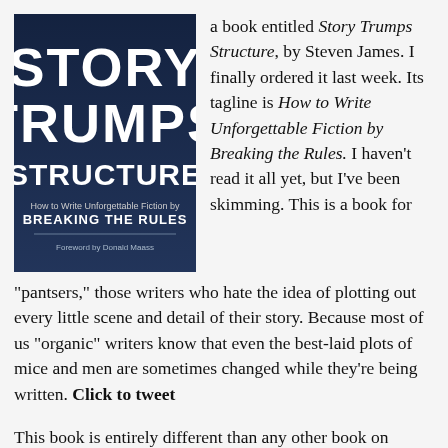[Figure (illustration): Book cover of 'Story Trumps Structure' by Steven James. Dark blue background with large white bold text reading STORY TRUMPS STRUCTURE. Subtitle: How to Write Unforgettable Fiction by BREAKING THE RULES. Foreword by Donald Maass.]
a book entitled Story Trumps Structure, by Steven James. I finally ordered it last week. Its tagline is How to Write Unforgettable Fiction by Breaking the Rules. I haven't read it all yet, but I've been skimming. This is a book for “pantsers,” those writers who hate the idea of plotting out every little scene and detail of their story. Because most of us “organic” writers know that even the best-laid plots of mice and men are sometimes changed while they’re being written. Click to tweet
This book is entirely different than any other book on